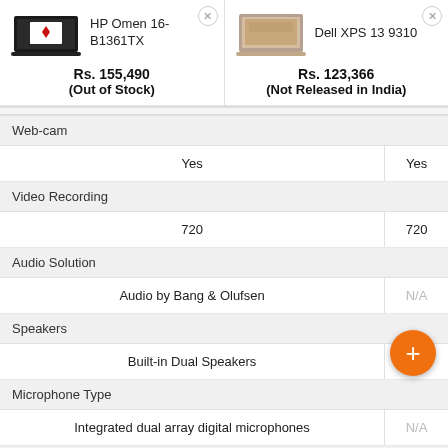| HP Omen 16-B1361TX | Dell XPS 13 9310 |
| --- | --- |
| Rs. 155,490 (Out of Stock) | Rs. 123,366 (Not Released in India) |
| Web-cam |  |
| Yes | Yes |
| Video Recording |  |
| 720 | 720 |
| Audio Solution |  |
| Audio by Bang & Olufsen | N/A |
| Speakers |  |
| Built-in Dual Speakers | N/A |
| Microphone Type |  |
| Integrated dual array digital microphones | N/A |
| In-built Microphone |  |